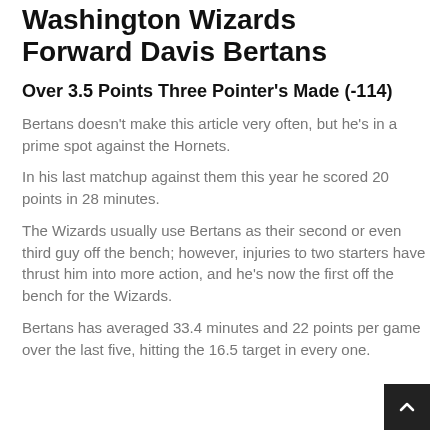Washington Wizards Forward Davis Bertans
Over 3.5 Points Three Pointer's Made (-114)
Bertans doesn't make this article very often, but he's in a prime spot against the Hornets.
In his last matchup against them this year he scored 20 points in 28 minutes.
The Wizards usually use Bertans as their second or even third guy off the bench; however, injuries to two starters have thrust him into more action, and he's now the first off the bench for the Wizards.
Bertans has averaged 33.4 minutes and 22 points per game over the last five, hitting the 16.5 target in every one.